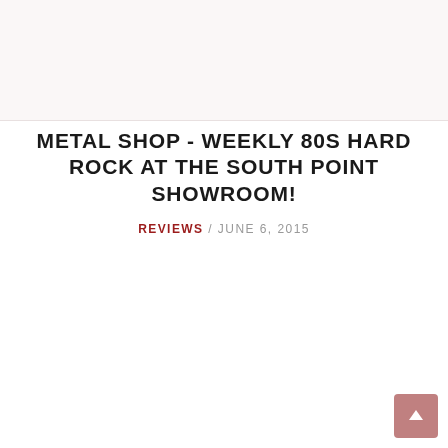[Figure (other): Top banner area with light pinkish-white background]
METAL SHOP - WEEKLY 80S HARD ROCK AT THE SOUTH POINT SHOWROOM!
REVIEWS / JUNE 6, 2015
[Figure (other): Back to top arrow button in pink/mauve color at bottom right]